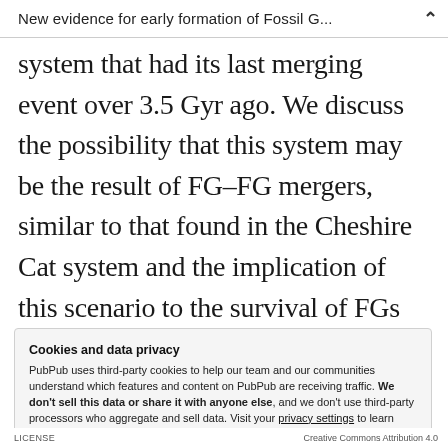New evidence for early formation of Fossil G...
system that had its last merging event over 3.5 Gyr ago. We discuss the possibility that this system may be the result of FG–FG mergers, similar to that found in the Cheshire Cat system and the implication of this scenario to the survival of FGs throughout their evolutionary history.
Cookies and data privacy
PubPub uses third-party cookies to help our team and our communities understand which features and content on PubPub are receiving traffic. We don't sell this data or share it with anyone else, and we don't use third-party processors who aggregate and sell data. Visit your privacy settings to learn more.
LICENSE   Creative Commons Attribution 4.0